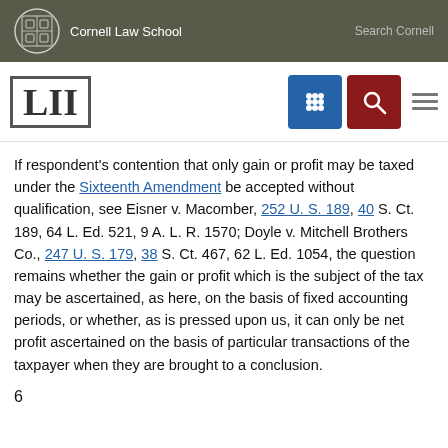Cornell Law School | Search Cornell
[Figure (logo): LII Legal Information Institute logo with Cornell Law School navigation bar including grid icon and search icon]
If respondent's contention that only gain or profit may be taxed under the Sixteenth Amendment be accepted without qualification, see Eisner v. Macomber, 252 U. S. 189, 40 S. Ct. 189, 64 L. Ed. 521, 9 A. L. R. 1570; Doyle v. Mitchell Brothers Co., 247 U. S. 179, 38 S. Ct. 467, 62 L. Ed. 1054, the question remains whether the gain or profit which is the subject of the tax may be ascertained, as here, on the basis of fixed accounting periods, or whether, as is pressed upon us, it can only be net profit ascertained on the basis of particular transactions of the taxpayer when they are brought to a conclusion.
6